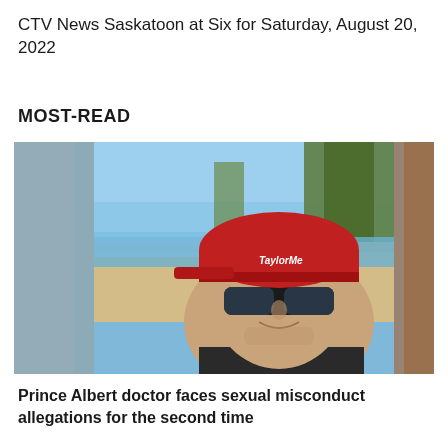CTV News Saskatoon at Six for Saturday, August 20, 2022
MOST-READ
[Figure (photo): A man wearing a red TaylorMade golf cap and black sunglasses smiling at the camera, taking a selfie at a beach with trees, sand, ocean water, and people in the background on a sunny day.]
Prince Albert doctor faces sexual misconduct allegations for the second time